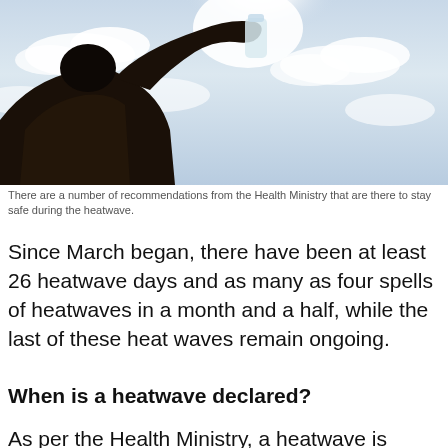[Figure (photo): A person drinking water from a bottle, silhouetted against a bright sky with clouds — taken from a low angle looking up.]
There are a number of recommendations from the Health Ministry that are there to stay safe during the heatwave.
Since March began, there have been at least 26 heatwave days and as many as four spells of heatwaves in a month and a half, while the last of these heat waves remain ongoing.
When is a heatwave declared?
As per the Health Ministry, a heatwave is declared